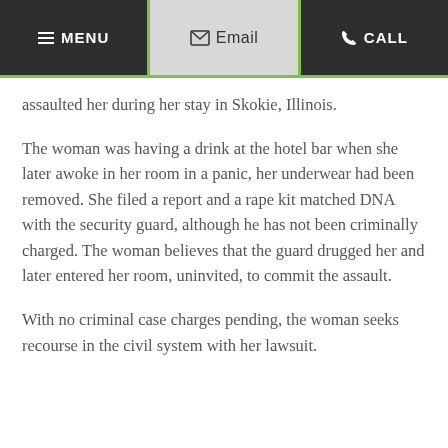MENU | Email | CALL
assaulted her during her stay in Skokie, Illinois.
The woman was having a drink at the hotel bar when she later awoke in her room in a panic, her underwear had been removed. She filed a report and a rape kit matched DNA with the security guard, although he has not been criminally charged. The woman believes that the guard drugged her and later entered her room, uninvited, to commit the assault.
With no criminal case charges pending, the woman seeks recourse in the civil system with her lawsuit.